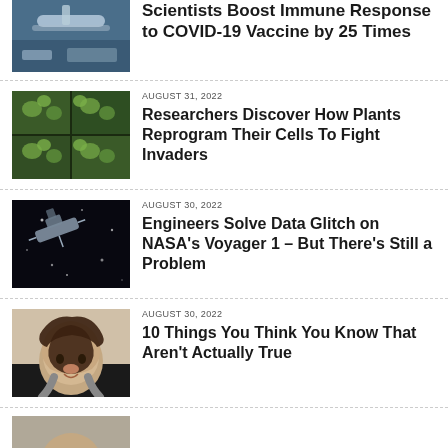[Figure (photo): Photo of syringe and COVID vaccine vials on blue surface (partially visible at top)]
Scientists Boost Immune Response to COVID-19 Vaccine by 25 Times
[Figure (photo): Photo of small green plants growing in dark soil trays, viewed from above]
AUGUST 31, 2022
Researchers Discover How Plants Reprogram Their Cells To Fight Invaders
[Figure (photo): Dark space photo with spacecraft/satellite visible]
AUGUST 30, 2022
Engineers Solve Data Glitch on NASA's Voyager 1 – But There's Still a Problem
[Figure (photo): Photo of a person with curly hair holding their head in hands with surprised/stressed expression]
AUGUST 30, 2022
10 Things You Think You Know That Aren't Actually True